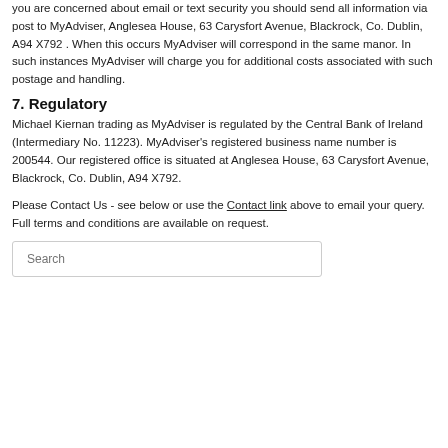you are concerned about email or text security you should send all information via post to MyAdviser, Anglesea House, 63 Carysfort Avenue, Blackrock, Co. Dublin, A94 X792 . When this occurs MyAdviser will correspond in the same manor. In such instances MyAdviser will charge you for additional costs associated with such postage and handling.
7. Regulatory
Michael Kiernan trading as MyAdviser is regulated by the Central Bank of Ireland (Intermediary No. 11223). MyAdviser's registered business name number is 200544. Our registered office is situated at Anglesea House, 63 Carysfort Avenue, Blackrock, Co. Dublin, A94 X792.
Please Contact Us - see below or use the Contact link above to email your query. Full terms and conditions are available on request.